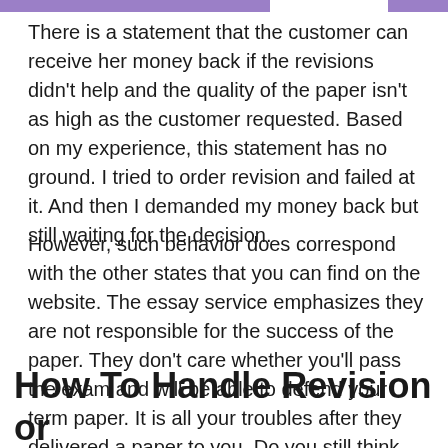There is a statement that the customer can receive her money back if the revisions didn't help and the quality of the paper isn't as high as the customer requested. Based on my experience, this statement has no ground. I tried to order revision and failed at it. And then I demanded my money back but still waiting for the decision.
However, such behavior does correspond with the other states that you can find on the website. The essay service emphasizes they are not responsible for the success of the paper. They don't care whether you'll pass the exam and will be able to defend your term paper. It is all your troubles after they delivered a paper to you. Do you still think they deserve to be given a second chance from us? My answer is negative.
How To Handle Revision or